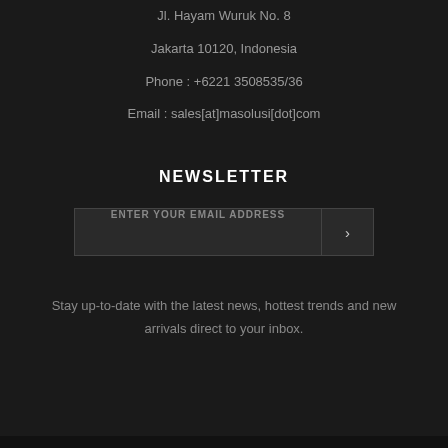Jl. Hayam Wuruk No. 8
Jakarta 10120, Indonesia
Phone : +6221 3508535/36
Email : sales[at]masolusi[dot]com
NEWSLETTER
ENTER YOUR EMAIL ADDRESS
Stay up-to-date with the latest news, hottest trends and new arrivals direct to your inbox.